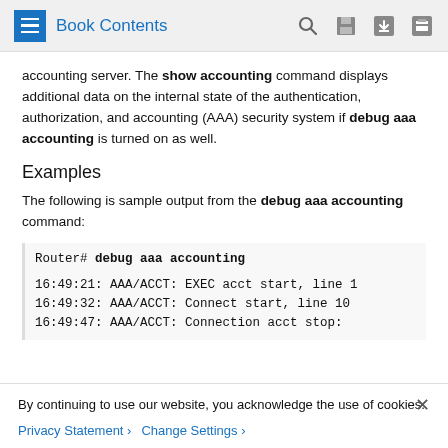Book Contents
accounting server. The show accounting command displays additional data on the internal state of the authentication, authorization, and accounting (AAA) security system if debug aaa accounting is turned on as well.
Examples
The following is sample output from the debug aaa accounting command:
Router# debug aaa accounting
16:49:21: AAA/ACCT: EXEC acct start, line 1
16:49:32: AAA/ACCT: Connect start, line 10
16:49:47: AAA/ACCT: Connection acct stop:
By continuing to use our website, you acknowledge the use of cookies.
Privacy Statement › Change Settings ›